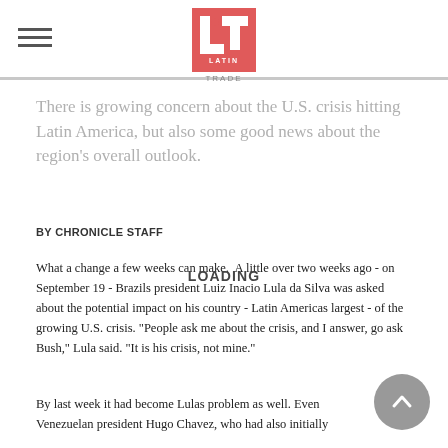Latin Trade
There is growing concern about the U.S. crisis hitting Latin America, but also some good news about the region's overall outlook.
BY CHRONICLE STAFF
What a change a few weeks can make. A little over two weeks ago - on September 19 - Brazils president Luiz Inacio Lula da Silva was asked about the potential impact on his country - Latin Americas largest - of the growing U.S. crisis. "People ask me about the crisis, and I answer, go ask Bush," Lula said. "It is his crisis, not mine."
By last week it had become Lulas problem as well. Even Venezuelan president Hugo Chavez, who had also initially